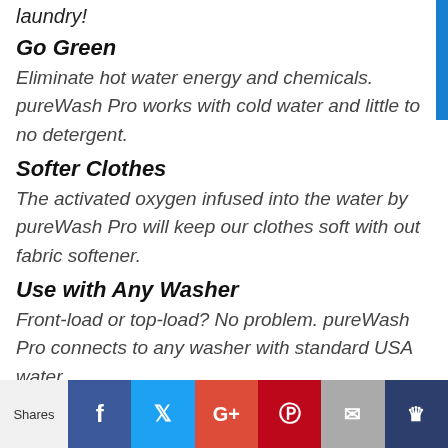laundry!
Go Green
Eliminate hot water energy and chemicals. pureWash Pro works with cold water and little to no detergent.
Softer Clothes
The activated oxygen infused into the water by pureWash Pro will keep our clothes soft with out fabric softener.
Use with Any Washer
Front-load or top-load? No problem. pureWash Pro connects to any washer with standard USA water
Shares | Facebook | Twitter | Google+ | Pinterest | Email | Crown